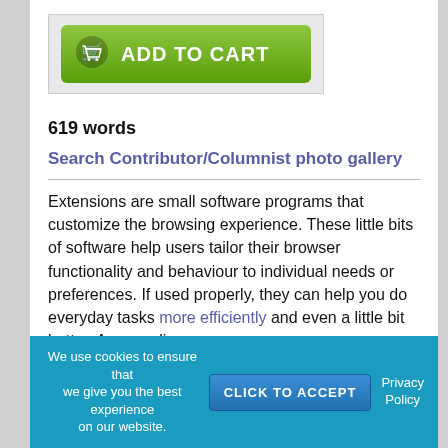[Figure (screenshot): Green 'ADD TO CART' button with shopping cart icon inside a light gray box]
619 words
Search Contributor/Columnist photo gallery
Extensions are small software programs that customize the browsing experience. These little bits of software help users tailor their browser functionality and behaviour to individual needs or preferences. If used properly, they can help you do everyday tasks more efficiently and even a little bit better. As an online
We use cookies to ensure that we give you the best experience on our website.
CLICK TO ACCEPT
Privacy Policy